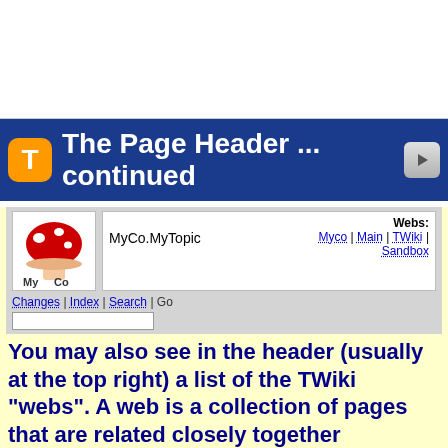[Figure (screenshot): TWiki page header screenshot showing MyCo.MyTopic with mushroom logo, Webs navigation links (Myco, Main, TWiki, Sandbox), Changes/Index/Search navigation bar, and a search input box]
The Page Header ... continued
You may also see in the header (usually at the top right) a list of the TWiki "webs". A web is a collection of pages that are related closely together
For example, we might have